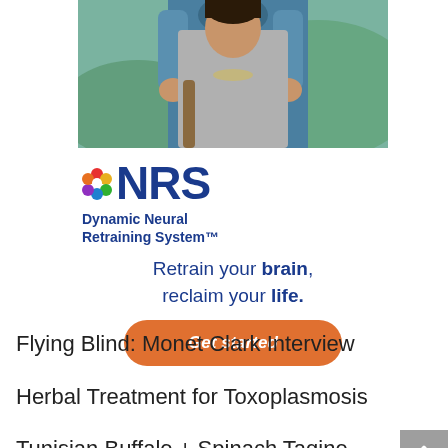[Figure (photo): Two people embracing outdoors, one person hugging another from behind, casual outdoor setting]
[Figure (logo): DNRS Dynamic Neural Retraining System logo with colorful flower/dot cluster icon and bold blue DNRS text, with tagline 'Retrain your brain, reclaim your life.' and orange Get started button]
Flying Blind: Monet Clark Interview
Herbal Treatment for Toxoplasmosis
Tunisian Buffalo + Spinach Tagine